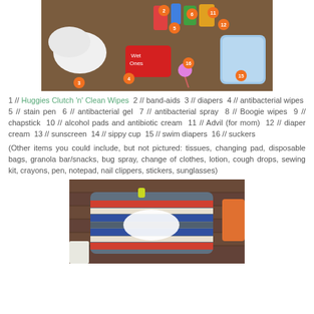[Figure (photo): Flat-lay photo of baby bag essentials numbered 1-16 including wipes, diapers, antibacterial products, etc.]
1 // Huggies Clutch 'n' Clean Wipes  2 // band-aids  3 // diapers  4 // antibacterial wipes  5 // stain pen  6 // antibacterial gel  7 // antibacterial spray  8 // Boogie wipes  9 // chapstick  10 // alcohol pads and antibiotic cream  11 // Advil (for mom)  12 // diaper cream  13 // sunscreen  14 // sippy cup  15 // swim diapers  16 // suckers
(Other items you could include, but not pictured: tissues, changing pad, disposable bags, granola bar/snacks, bug spray, change of clothes, lotion, cough drops, sewing kit, crayons, pen, notepad, nail clippers, stickers, sunglasses)
[Figure (photo): Photo of a colorful striped Huggies wipes pouch with a white oval on top, sitting on a brick surface.]